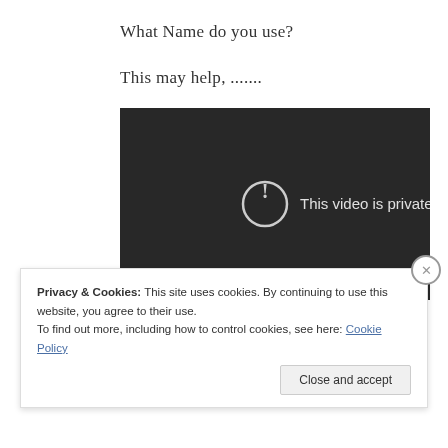What Name do you use?
This may help, .......
[Figure (screenshot): Embedded video player showing 'This video is private' error message with exclamation icon on dark background, YouTube play button visible in bottom right corner.]
Privacy & Cookies: This site uses cookies. By continuing to use this website, you agree to their use.
To find out more, including how to control cookies, see here: Cookie Policy
Close and accept